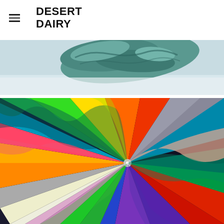DESERT DAIRY
[Figure (photo): Partial view of a teal/green textured stone or ceramic object against a light blue-gray background]
[Figure (illustration): Abstract colorful pinwheel/spiral painting with radiating color bands in green, yellow, orange, red, blue, purple, pink, teal and other colors emanating from a central point, with wavy irregular edges between color zones]